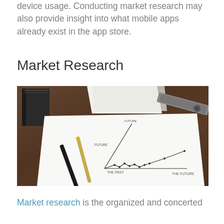device usage. Conducting market research may also provide insight into what mobile apps already exist in the app store.
Market Research
[Figure (photo): A notebook with a hand-drawn line chart on a wooden table, with two pens and a ruler. The chart shows a line labeled 'THE PAST' on the x-axis and 'THE FUTURE' trending upward.]
Market research is the organized and concerted